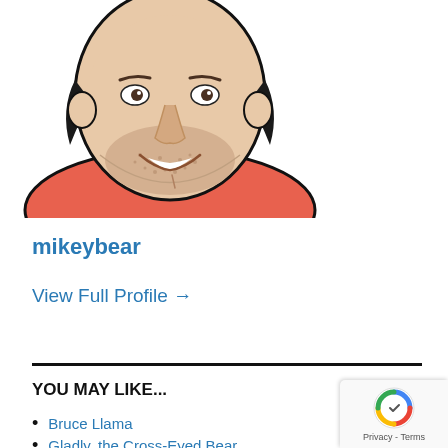[Figure (illustration): Comic-style illustration of a smiling man with stubble, dark hair, wearing a red/salmon colored shirt, cropped at chest level]
mikeybear
View Full Profile →
YOU MAY LIKE...
Bruce Llama
Gladly, the Cross-Eyed Bear
Gregory Storer
Jae, My God